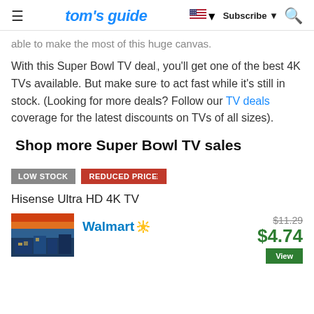tom's guide | Subscribe | Search
able to make the most of this huge canvas.
With this Super Bowl TV deal, you'll get one of the best 4K TVs available. But make sure to act fast while it's still in stock. (Looking for more deals? Follow our TV deals coverage for the latest discounts on TVs of all sizes).
Shop more Super Bowl TV sales
LOW STOCK   REDUCED PRICE
Hisense Ultra HD 4K TV
[Figure (photo): Product image of Hisense Ultra HD 4K TV showing a cityscape]
Walmart $11.29 $4.74